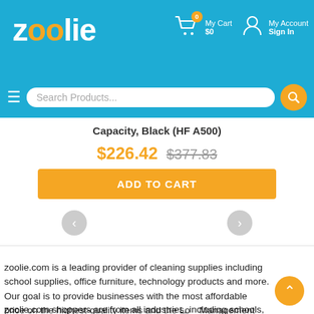[Figure (screenshot): Zoolie.com website header with logo, cart icon showing 0 items and $0, My Account / Sign In link on a blue background]
[Figure (screenshot): Search bar with hamburger menu icon and 'Search Products...' placeholder text with orange search button on blue background]
Capacity, Black (HF A500)
$226.42  $377.83
ADD TO CART
zoolie.com is a leading provider of cleaning supplies including school supplies, office furniture, technology products and more. Our goal is to provide businesses with the most affordable price on the highest-quality items and the Lo Management Chair (20978111) is no exception.
zoolie.com shoppers are from all industries, including schools,